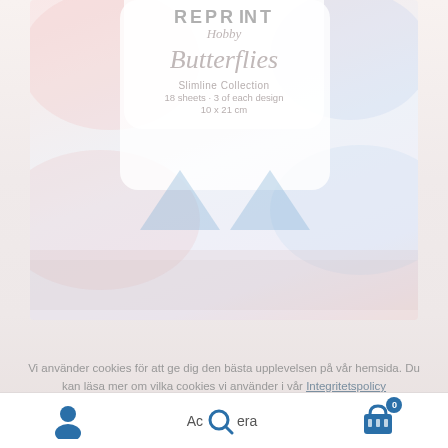[Figure (photo): Product packaging for Reprint Hobby 'Butterflies' Slimline Collection, showing decorative paper with butterfly motifs in pastel pink and blue tones]
REPRINT
Hobby
Butterflies
Slimline Collection
18 sheets - 3 of each design
10 x 21 cm
Vi använder cookies för att ge dig den bästa upplevelsen på vår hemsida. Du kan läsa mer om vilka cookies vi använder i vår Integritetspolicy
Acceptera